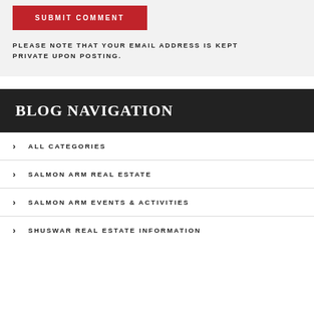SUBMIT COMMENT
PLEASE NOTE THAT YOUR EMAIL ADDRESS IS KEPT PRIVATE UPON POSTING.
BLOG NAVIGATION
ALL CATEGORIES
SALMON ARM REAL ESTATE
SALMON ARM EVENTS & ACTIVITIES
SHUSWAR REAL ESTATE INFORMATION